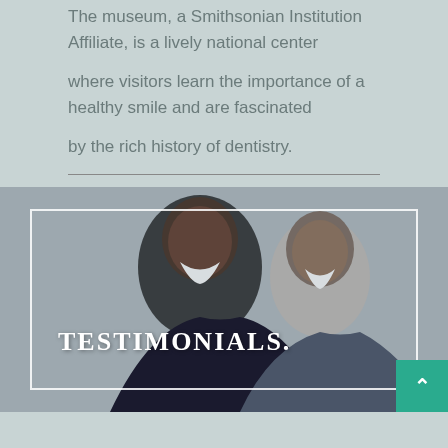The museum, a Smithsonian Institution Affiliate, is a lively national center
where visitors learn the importance of a healthy smile and are fascinated
by the rich history of dentistry.
[Figure (photo): Smiling older Black couple laughing together outdoors, overlaid with the word TESTIMONIALS. in white serif bold text, within a white rectangular border. A teal scroll-to-top button is in the bottom-right corner.]